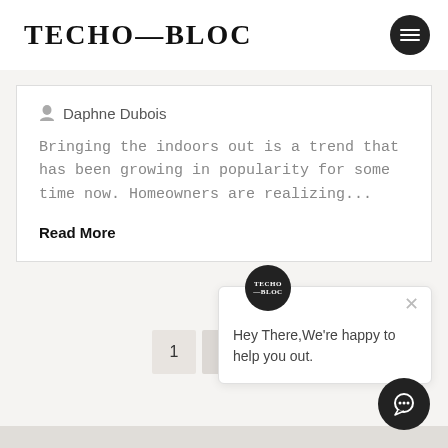TECHO—BLOC
Daphne Dubois
Bringing the indoors out is a trend that has been growing in popularity for some time now. Homeowners are realizing...
Read More
1
Hey There,We're happy to help you out.